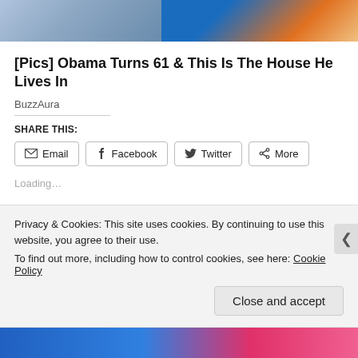[Figure (photo): Partial photo banner showing two people, cropped at top of page]
[Pics] Obama Turns 61 & This Is The House He Lives In
BuzzAura
SHARE THIS:
Email | Facebook | Twitter | More
Loading...
Posted in: Tales from the Kitchen  |
Tagged:
Privacy & Cookies: This site uses cookies. By continuing to use this website, you agree to their use.
To find out more, including how to control cookies, see here: Cookie Policy
Close and accept